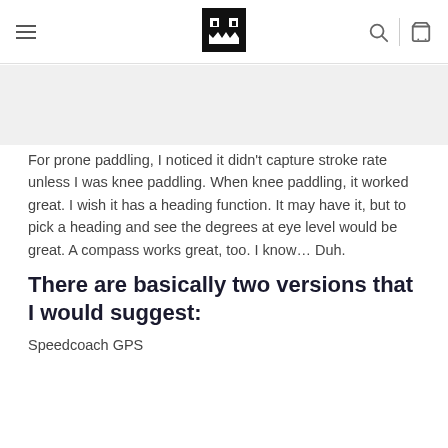[Navigation header with hamburger menu, logo icon, search icon, and cart icon]
For prone paddling, I noticed it didn't capture stroke rate unless I was knee paddling. When knee paddling, it worked great. I wish it has a heading function. It may have it, but to pick a heading and see the degrees at eye level would be great. A compass works great, too. I know… Duh.
There are basically two versions that I would suggest:
Speedcoach GPS